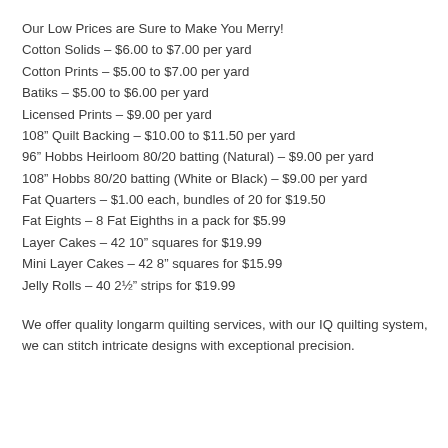Our Low Prices are Sure to Make You Merry!
Cotton Solids – $6.00 to $7.00 per yard
Cotton Prints – $5.00 to $7.00 per yard
Batiks – $5.00 to $6.00 per yard
Licensed Prints – $9.00 per yard
108" Quilt Backing – $10.00 to $11.50 per yard
96" Hobbs Heirloom 80/20 batting (Natural) – $9.00 per yard
108" Hobbs 80/20 batting (White or Black) – $9.00 per yard
Fat Quarters – $1.00 each, bundles of 20 for $19.50
Fat Eights – 8 Fat Eighths in a pack for $5.99
Layer Cakes – 42 10" squares for $19.99
Mini Layer Cakes – 42 8" squares for $15.99
Jelly Rolls – 40 2½" strips for $19.99
We offer quality longarm quilting services, with our IQ quilting system, we can stitch intricate designs with exceptional precision.